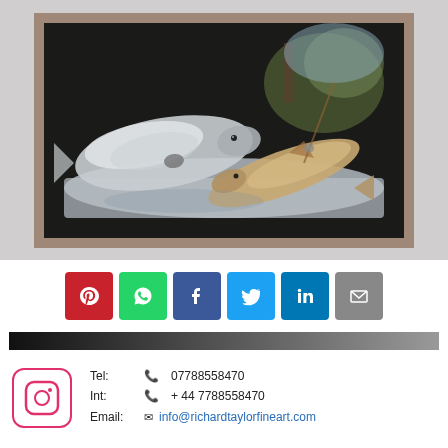[Figure (photo): A framed oil painting showing fish (trout/salmon) arranged on a marble surface with a landscape background. The painting is in a wooden frame with silver/grey finish, set against a light grey background.]
[Figure (infographic): Row of 6 social media share buttons: Pinterest (red), WhatsApp (green), Facebook (dark blue), Twitter (light blue), LinkedIn (blue), Email (grey)]
[Figure (infographic): Dark gradient bar from black to grey]
[Figure (logo): Instagram logo icon in a rounded square border]
Tel:    07788558470
Int:    + 44 7788558470
Email:  info@richardtaylorfineart.com